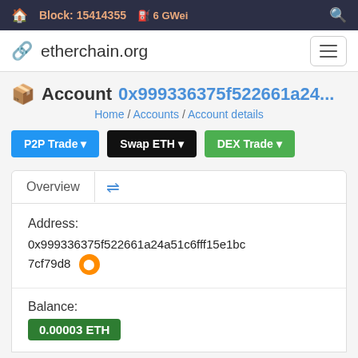Block: 15414355   6 GWei
etherchain.org
Account 0x999336375f522661a24...
Home / Accounts / Account details
P2P Trade   Swap ETH   DEX Trade
Overview
Address: 0x999336375f522661a24a51c6fff15e1bc7cf79d8
Balance: 0.00003 ETH